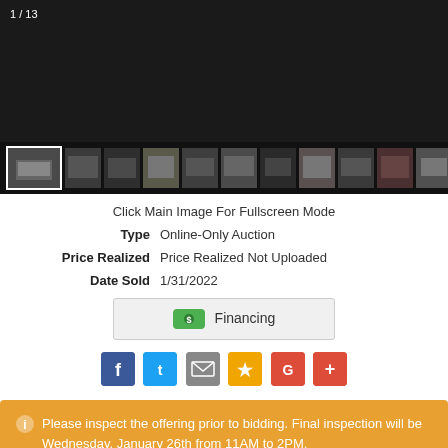[Figure (photo): Auction item photo gallery with main image area showing '1 / 13' counter and a strip of 13 vehicle thumbnails below]
Click Main Image For Fullscreen Mode
Type   Online-Only Auction
Price Realized   Price Realized Not Uploaded
Date Sold   1/31/2022
Financing
[Figure (infographic): Social sharing buttons: Facebook, Twitter, Email, Favorites (star), Google, Google Plus]
Please inspect the offering prior to bidding. Final inspection will be Wednesday, January 26th from 11AM to 2PM.